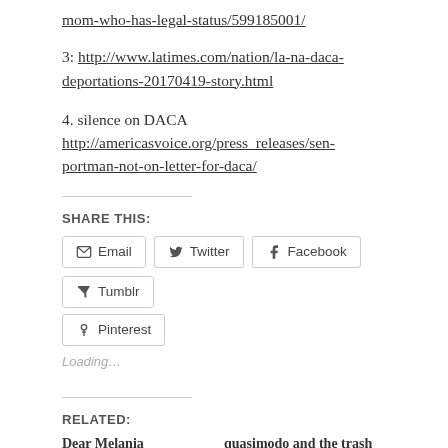mom-who-has-legal-status/599185001/
3: http://www.latimes.com/nation/la-na-daca-deportations-20170419-story.html
4. silence on DACA http://americasvoice.org/press_releases/sen-portman-not-on-letter-for-daca/
SHARE THIS:
Email  Twitter  Facebook  Tumblr  Pinterest
Loading...
RELATED:
Dear Melania
quasimodo and the trash girl